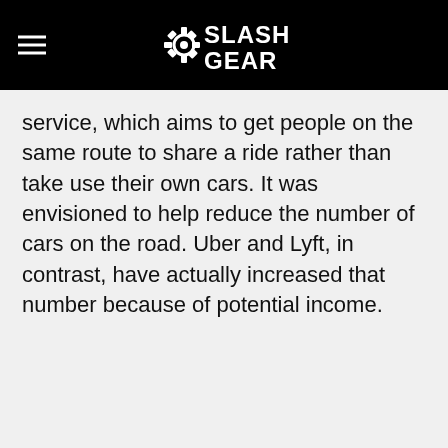SlashGear
service, which aims to get people on the same route to share a ride rather than take use their own cars. It was envisioned to help reduce the number of cars on the road. Uber and Lyft, in contrast, have actually increased that number because of potential income.